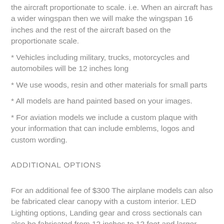the aircraft proportionate to scale. i.e. When an aircraft has a wider wingspan then we will make the wingspan 16 inches and the rest of the aircraft based on the proportionate scale.
* Vehicles including military, trucks, motorcycles and automobiles will be 12 inches long
* We use woods, resin and other materials for small parts
* All models are hand painted based on your images.
* For aviation models we include a custom plaque with your information that can include emblems, logos and custom wording.
ADDITIONAL OPTIONS
For an additional fee of $300 The airplane models can also be fabricated clear canopy with a custom interior. LED Lighting options, Landing gear and cross sectionals can also be fabricated from 12 inches to 12 feet and larger. Custom Ship Models, Yacht models,